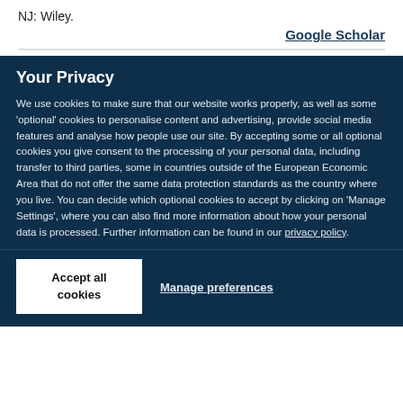NJ: Wiley.
Google Scholar
Your Privacy
We use cookies to make sure that our website works properly, as well as some 'optional' cookies to personalise content and advertising, provide social media features and analyse how people use our site. By accepting some or all optional cookies you give consent to the processing of your personal data, including transfer to third parties, some in countries outside of the European Economic Area that do not offer the same data protection standards as the country where you live. You can decide which optional cookies to accept by clicking on 'Manage Settings', where you can also find more information about how your personal data is processed. Further information can be found in our privacy policy.
Accept all cookies
Manage preferences